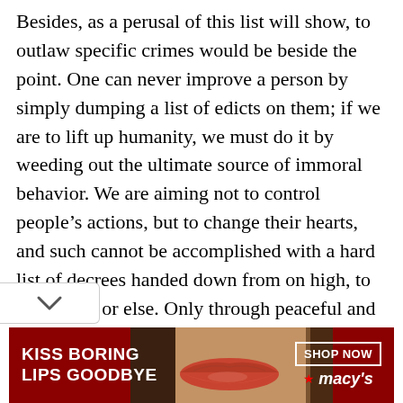Besides, as a perusal of this list will show, to outlaw specific crimes would be beside the point. One can never improve a person by simply dumping a list of edicts on them; if we are to lift up humanity, we must do it by weeding out the ultimate source of immoral behavior. We are aiming not to control people's actions, but to change their hearts, and such cannot be accomplished with a hard list of decrees handed down from on high, to be obeyed or else. Only through peaceful and tional persuasion can we hope to
[Figure (other): Advertisement banner for Macy's lipstick: 'KISS BORING LIPS GOODBYE' with a woman's lips and a 'SHOP NOW' button with Macy's star logo]